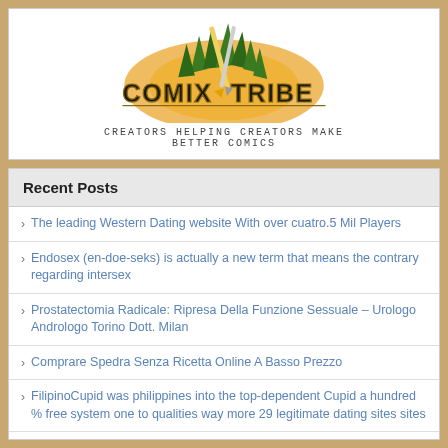[Figure (logo): ComixTribe logo — stylized tribal text with pens/pencils and jungle foliage on orange/brown background, tagline: CREATORS HELPING CREATORS MAKE BETTER COMICS]
Recent Posts
The leading Western Dating website With over cuatro.5 Mil Players
Endosex (en-doe-seks) is actually a new term that means the contrary regarding intersex
Prostatectomia Radicale: Ripresa Della Funzione Sessuale – Urologo Andrologo Torino Dott. Milan
Comprare Spedra Senza Ricetta Online A Basso Prezzo
FilipinoCupid was philippines into the top-dependent Cupid a hundred % free system one to qualities way more 29 legitimate dating sites sites
Anthony: I believe you to definitely, when you look at the process of relationships
How will you rating 200 loans toward Badoo?